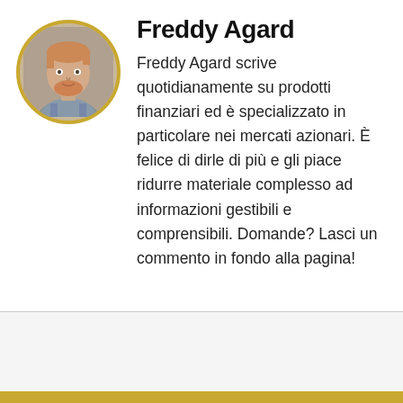[Figure (photo): Circular profile photo of a man with short reddish beard and light hair wearing a plaid shirt, framed with a gold/yellow circular border.]
Freddy Agard
Freddy Agard scrive quotidianamente su prodotti finanziari ed è specializzato in particolare nei mercati azionari. È felice di dirle di più e gli piace ridurre materiale complesso ad informazioni gestibili e comprensibili. Domande? Lasci un commento in fondo alla pagina!
Italian